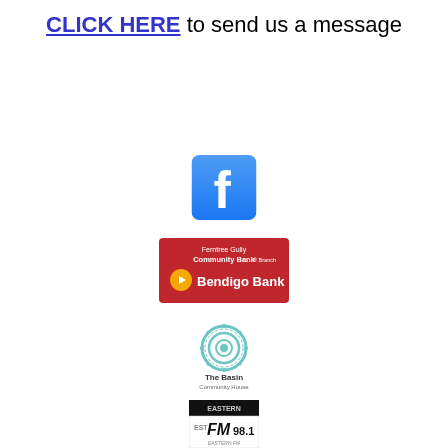CLICK HERE to send us a message
[Figure (logo): Facebook logo - blue rounded square with white 'f' letter]
[Figure (logo): Ferntree Gully Community Bank Branch - Bendigo Bank logo on red background]
[Figure (logo): The Basin Community House logo - teal decorative circular emblem with text]
[Figure (logo): Eastern FM 98.1 radio station logo - black and yellow]